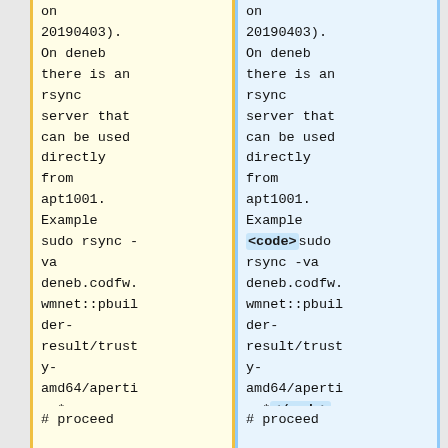on 20190403). On deneb there is an rsync server that can be used directly from apt1001. Example sudo rsync -va deneb.codfw.wmnet::pbuilder-result/trusty-amd64/apertium* .
on 20190403). On deneb there is an rsync server that can be used directly from apt1001. Example <code>sudo rsync -va deneb.codfw.wmnet::pbuilder-result/trusty-amd64/apertium*</code>.
# proceed
# proceed